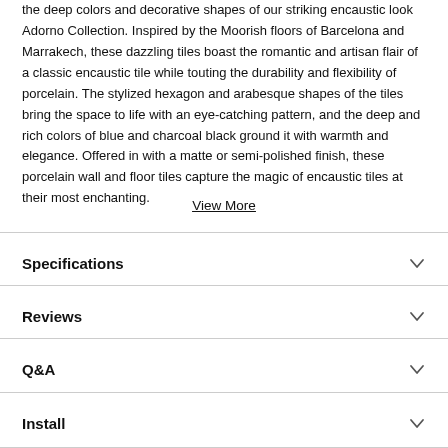the deep colors and decorative shapes of our striking encaustic look Adorno Collection. Inspired by the Moorish floors of Barcelona and Marrakech, these dazzling tiles boast the romantic and artisan flair of a classic encaustic tile while touting the durability and flexibility of porcelain. The stylized hexagon and arabesque shapes of the tiles bring the space to life with an eye-catching pattern, and the deep and rich colors of blue and charcoal black ground it with warmth and elegance. Offered in with a matte or semi-polished finish, these porcelain wall and floor tiles capture the magic of encaustic tiles at their most enchanting.
View More
Specifications
Reviews
Q&A
Install